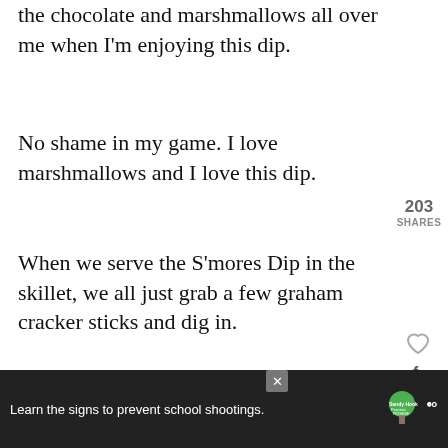the chocolate and marshmallows all over me when I'm enjoying this dip.
No shame in my game. I love marshmallows and I love this dip.
203 SHARES
When we serve the S'mores Dip in the skillet, we all just grab a few graham cracker sticks and dig in.
It's one of our favorite desserts, especially during the cold winter months.
[Figure (infographic): Social sharing widget with heart/like icon showing 210 count, share icon, Facebook icon, and heart outline icon]
[Figure (infographic): WHAT'S NEXT banner with thumbnail and text: S'mores Brownies]
[Figure (photo): Partial photo strip visible at bottom of content area]
[Figure (infographic): Advertisement bar: Learn the signs to prevent school shootings. Sandy Hook Promise logo and another logo.]